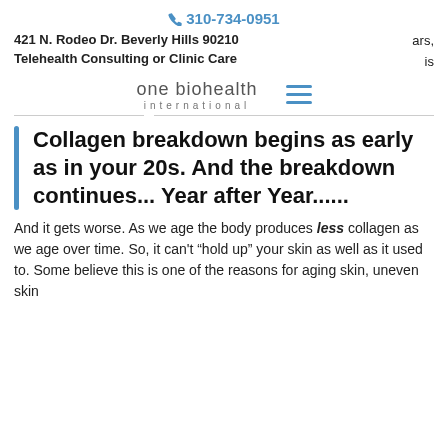310-734-0951
421 N. Rodeo Dr. Beverly Hills 90210
Telehealth Consulting or Clinic Care
[Figure (logo): One Biohealth International logo with hamburger menu icon]
Collagen breakdown begins as early as in your 20s. And the breakdown continues... Year after Year......
And it gets worse. As we age the body produces less collagen as we age over time. So, it can’t “hold up” your skin as well as it used to. Some believe this is one of the reasons for aging skin, uneven skin